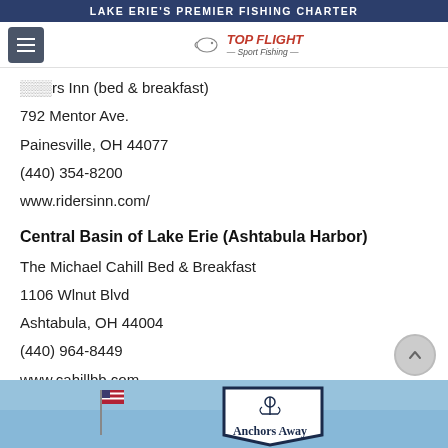LAKE ERIE'S PREMIER FISHING CHARTER
rs Inn (bed & breakfast)
792 Mentor Ave.
Painesville, OH 44077
(440) 354-8200
www.ridersinn.com/
Central Basin of Lake Erie (Ashtabula Harbor)
The Michael Cahill Bed & Breakfast
1106 Wlnut Blvd
Ashtabula, OH 44004
(440) 964-8449
www.cahillbb.com
[Figure (photo): Bottom image showing a sign that reads 'Anchors Away' with an anchor logo, against a blue sky background with an American flag visible on the left.]